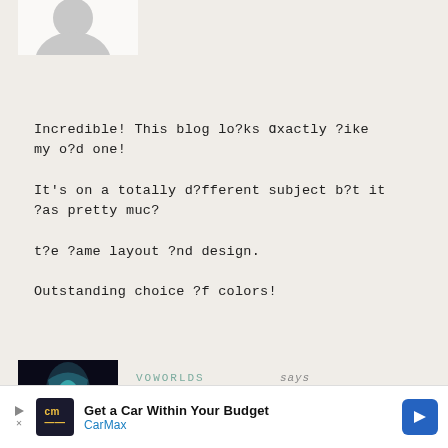[Figure (photo): Gray avatar/profile picture silhouette at top]
Incredible! This blog lo?ks ɑxactly ?ike my o?d one!
It's on a totally d?fferent subject b?t it ?as pretty muc?
t?e ?ame layout ?nd design.
Outstanding choice ?f colors!
Reply
[Figure (photo): Dark background image with teal/blue decorative design, voworlds avatar]
VOWORLDS says
OCTOBER 5, 2021 AT 9:40...
[Figure (screenshot): CarMax advertisement banner: Get a Car Within Your Budget]